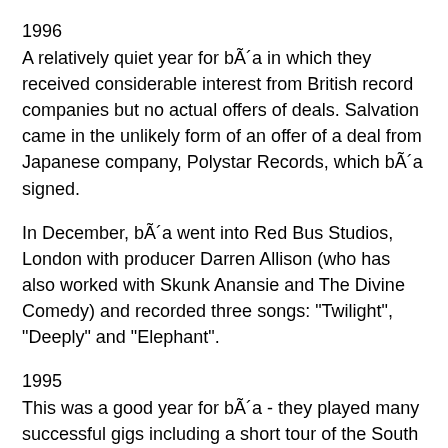1996
A relatively quiet year for bÃ´a in which they received considerable interest from British record companies but no actual offers of deals. Salvation came in the unlikely form of an offer of a deal from Japanese company, Polystar Records, which bÃ´a signed.
In December, bÃ´a went into Red Bus Studios, London with producer Darren Allison (who has also worked with Skunk Anansie and The Divine Comedy) and recorded three songs: "Twilight", "Deeply" and "Elephant".
1995
This was a good year for bÃ´a - they played many successful gigs including a short tour of the South of England which ended in two performances at the Glastonbury festival, where they were chosen as the focus of a TV documentary about the festival that